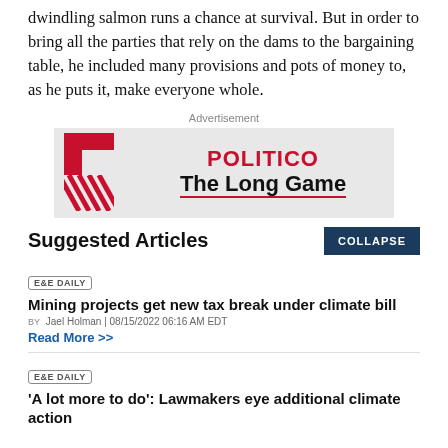dwindling salmon runs a chance at survival. But in order to bring all the parties that rely on the dams to the bargaining table, he included many provisions and pots of money to, as he puts it, make everyone whole.
[Figure (logo): POLITICO The Long Game advertisement banner with red square graphic on left and POLITICO The Long Game text on right]
Suggested Articles
E&E DAILY
Mining projects get new tax break under climate bill
BY Jael Holman | 08/15/2022 06:16 AM EDT
Read More >>
E&E DAILY
'A lot more to do': Lawmakers eye additional climate action